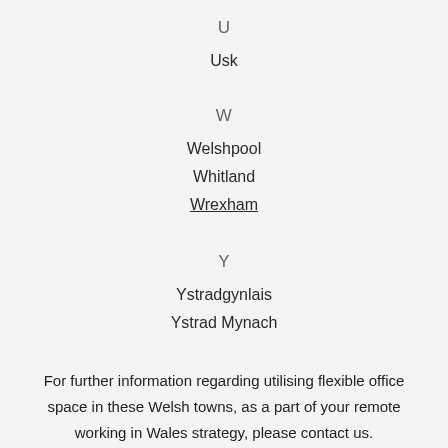U
Usk
W
Welshpool
Whitland
Wrexham
Y
Ystradgynlais
Ystrad Mynach
For further information regarding utilising flexible office space in these Welsh towns, as a part of your remote working in Wales strategy, please contact us.